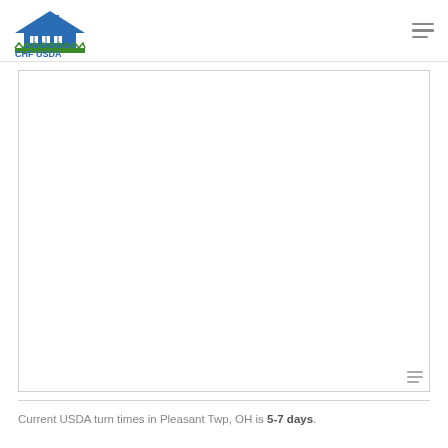CHF USDA
[Figure (logo): CHF USDA logo with a house and grass graphic in blue and green, with text 'CHF USDA' beside it]
Current USDA turn times in Pleasant Twp, OH is 5-7 days.